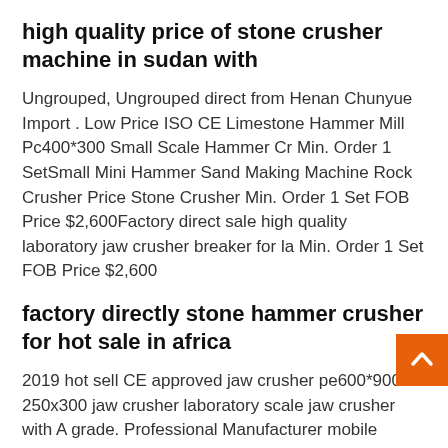high quality price of stone crusher machine in sudan with
Ungrouped, Ungrouped direct from Henan Chunyue Import . Low Price ISO CE Limestone Hammer Mill Pc400*300 Small Scale Hammer Cr Min. Order 1 SetSmall Mini Hammer Sand Making Machine Rock Crusher Price Stone Crusher Min. Order 1 Set FOB Price $2,600Factory direct sale high quality laboratory jaw crusher breaker for la Min. Order 1 Set FOB Price $2,600
factory directly stone hammer crusher for hot sale in africa
2019 hot sell CE approved jaw crusher pe600*900 250x300 jaw crusher laboratory scale jaw crusher with A grade. Professional Manufacturer mobile diesel jaw crusher 159x250 jaw crusher mobile price mobile stone crushers in south africa. . Factory direct sale vertical